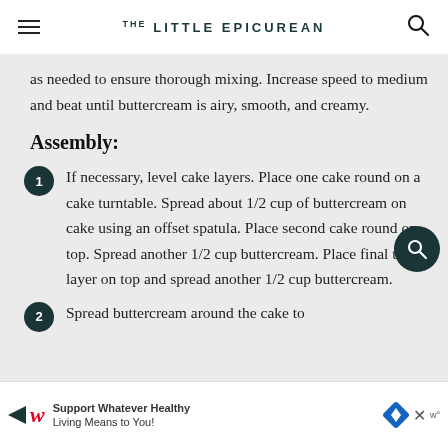THE LITTLE EPICUREAN
as needed to ensure thorough mixing. Increase speed to medium and beat until buttercream is airy, smooth, and creamy.
Assembly:
If necessary, level cake layers. Place one cake round on a cake turntable. Spread about 1/2 cup of buttercream on cake using an offset spatula. Place second cake round on top. Spread another 1/2 cup buttercream. Place final third layer on top and spread another 1/2 cup buttercream.
Spread buttercream around the cake to
Support Whatever Healthy Living Means to You!